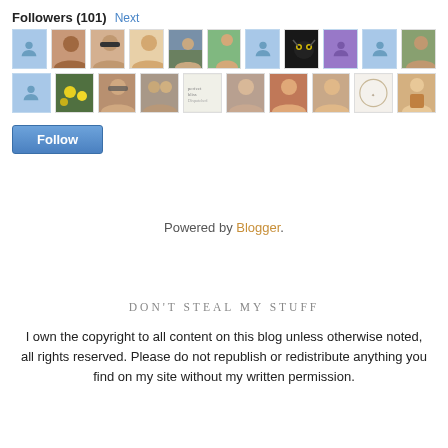Followers (101) Next
[Figure (other): Grid of follower avatar thumbnails — two rows of profile photos and placeholder icons]
Follow
Powered by Blogger.
DON'T STEAL MY STUFF
I own the copyright to all content on this blog unless otherwise noted, all rights reserved. Please do not republish or redistribute anything you find on my site without my written permission.